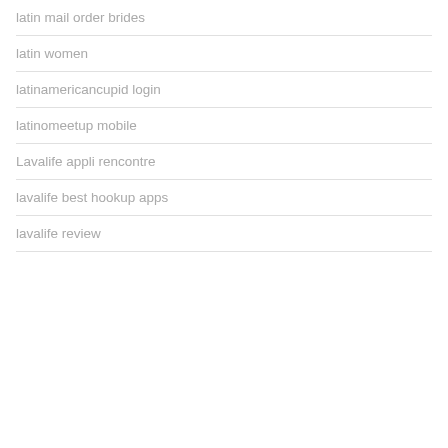latin mail order brides
latin women
latinamericancupid login
latinomeetup mobile
Lavalife appli rencontre
lavalife best hookup apps
lavalife review